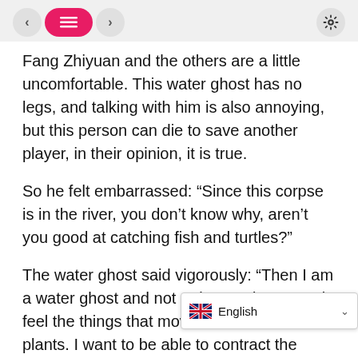< [list icon] > [settings icon]
Fang Zhiyuan and the others are a little uncomfortable. This water ghost has no legs, and talking with him is also annoying, but this person can die to save another player, in their opinion, it is true.
So he felt embarrassed: “Since this corpse is in the river, you don’t know why, aren’t you good at catching fish and turtles?”
The water ghost said vigorously: “Then I am a water ghost and not a river god. I can only feel the things that move on the water plants. I want to be able to contract the entire fish pond and take revenge early.”
When he finished speaking, Zhu Yang slapped his head again: “Since they have all be… can’t you run towards the riv…
English (language selector overlay)